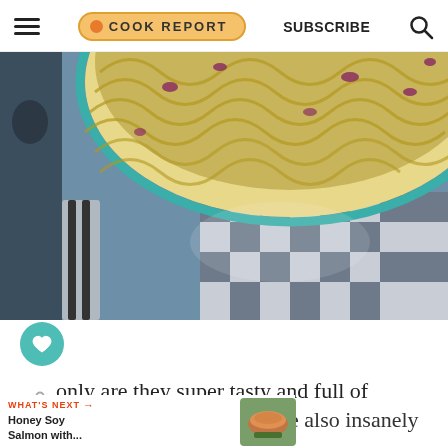THE COOK REPORT | SUBSCRIBE
[Figure (photo): A pan of ramen noodles with red onions on a blue-gray surface with a checkered cloth napkin, shot from above]
only are they super tasty and full of soy peanty flavour, they're also insanely
WHAT'S NEXT → Honey Soy Salmon with...